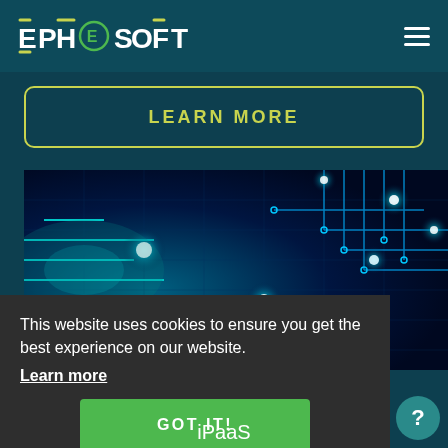EPHESOFT
LEARN MORE
[Figure (illustration): Blue glowing circuit board technology background image with teal and electric blue nodes and connection lines]
This website uses cookies to ensure you get the best experience on our website.
Learn more
GOT IT!
iPaaS